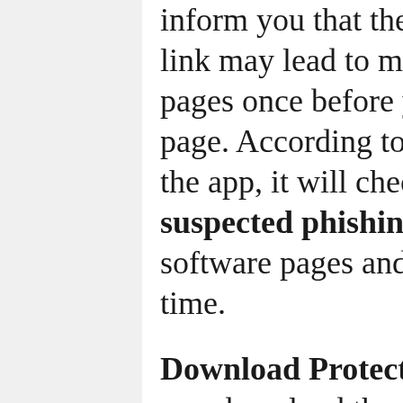inform you that the website or the link may lead to malware-infected pages once before you click the page. According to the checklist of the app, it will check all the suspected phishing, unwanted software pages and malware in real-time.
Download Protection: Once before you download the application it will scan all the apk files for malware with the entire background check, which helps you to keep your device much secured. Here once if the download has done, it will go for the safety scanning for